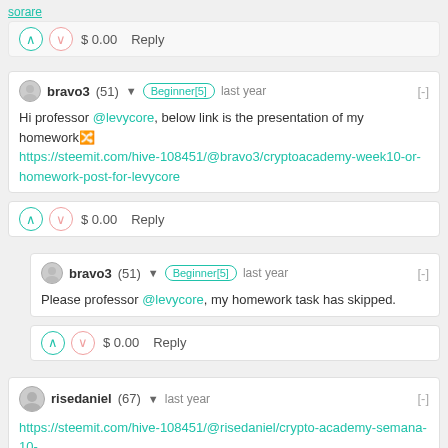sorare
$ 0.00   Reply
bravo3 (51) Beginner[5] last year [-]
Hi professor @levycore, below link is the presentation of my homework
https://steemit.com/hive-108451/@bravo3/cryptoacademy-week10-or-homework-post-for-levycore
$ 0.00   Reply
bravo3 (51) Beginner[5] last year [-]
Please professor @levycore, my homework task has skipped.
$ 0.00   Reply
risedaniel (67) last year [-]
https://steemit.com/hive-108451/@risedaniel/crypto-academy-semana-10-tareas-para-levycore-cryptokitties-tnf
$ 0.00   Reply